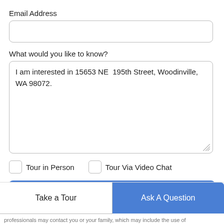Email Address
[Figure (other): Empty text input field for Email Address]
What would you like to know?
[Figure (other): Textarea with pre-filled text: I am interested in 15653 NE 195th Street, Woodinville, WA 98072.]
Tour in Person
Tour Via Video Chat
[Figure (other): Submit button (blue, full width)]
[Figure (other): Take a Tour button (white, outlined) and Ask A Question button (blue), side by side]
professionals may contact you or your family, which may include the use of